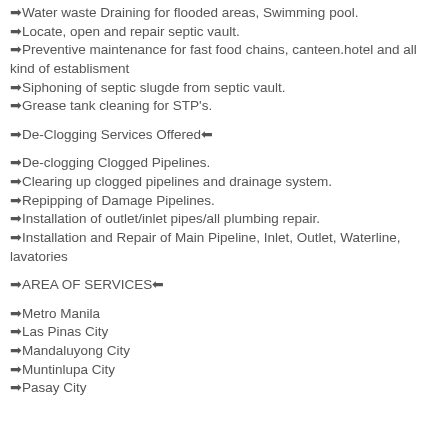➡Water waste Draining for flooded areas, Swimming pool.
➡Locate, open and repair septic vault.
➡Preventive maintenance for fast food chains, canteen.hotel and all kind of establisment
➡Siphoning of septic slugde from septic vault.
➡Grease tank cleaning for STP's.
➡De-Clogging Services Offered⬅
➡De-clogging Clogged Pipelines.
➡Clearing up clogged pipelines and drainage system.
➡Repipping of Damage Pipelines.
➡Installation of outlet/inlet pipes/all plumbing repair.
➡Installation and Repair of Main Pipeline, Inlet, Outlet, Waterline, lavatories
➡AREA OF SERVICES⬅
➡Metro Manila
➡Las Pinas City
➡Mandaluyong City
➡Muntinlupa City
➡Pasay City